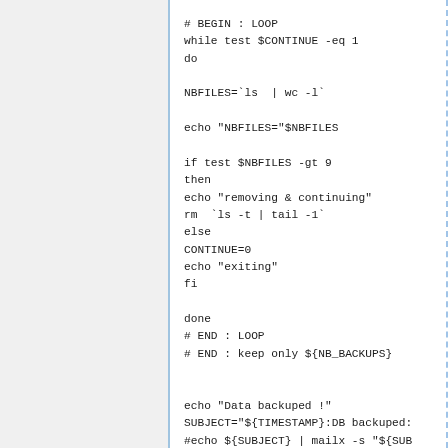# BEGIN : LOOP
while test $CONTINUE -eq 1
do

NBFILES=`ls  | wc -l`

echo "NBFILES="$NBFILES

if test $NBFILES -gt 9
then
echo "removing & continuing"
rm  `ls -t | tail -1`
else
CONTINUE=0
echo "exiting"
fi

done
# END : LOOP
# END : keep only ${NB_BACKUPS}


echo "Data backuped !"
SUBJECT="${TIMESTAMP}:DB backuped:
#echo ${SUBJECT} | mailx -s "${SUB